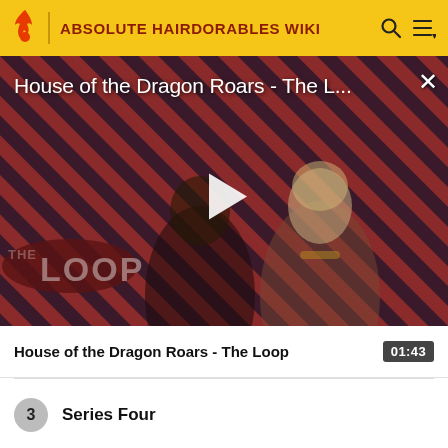ABSOLUTE HAIRDORABLES WIKI
[Figure (screenshot): Video thumbnail for 'House of the Dragon Roars - The Loop' with diagonal red/dark stripe background, two characters visible, play button in center, and The Loop logo in lower left]
House of the Dragon Roars - The L…
House of the Dragon Roars - The Loop  01:43
3  Series Four